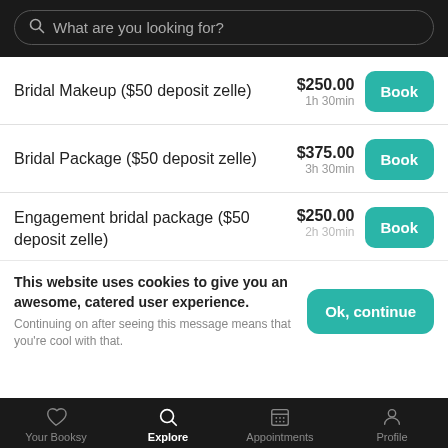What are you looking for?
Bridal Makeup ($50 deposit zelle) — $250.00 — 1h 30min — Book
Bridal Package ($50 deposit zelle) — $375.00 — 3h 30min — Book
Engagement bridal package ($50 deposit zelle) — $250.00 — 2h 30min — Book
This website uses cookies to give you an awesome, catered user experience. Continuing on after seeing this message means that you're cool with that.
Your Booksy | Explore | Appointments | Profile